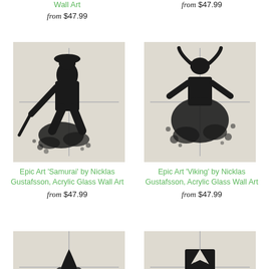Wall Art
from $47.99
from $47.99
[Figure (photo): Black and white artwork of a samurai silhouette with ink splatter on acrylic glass wall art panel]
[Figure (photo): Black and white artwork of a viking silhouette with ink splatter on acrylic glass wall art panel]
Epic Art 'Samurai' by Nicklas Gustafsson, Acrylic Glass Wall Art
from $47.99
Epic Art 'Viking' by Nicklas Gustafsson, Acrylic Glass Wall Art
from $47.99
[Figure (photo): Partial view of another acrylic glass wall art piece with black and white design (bottom of page, left)]
[Figure (photo): Partial view of another acrylic glass wall art piece with black and white design (bottom of page, right)]